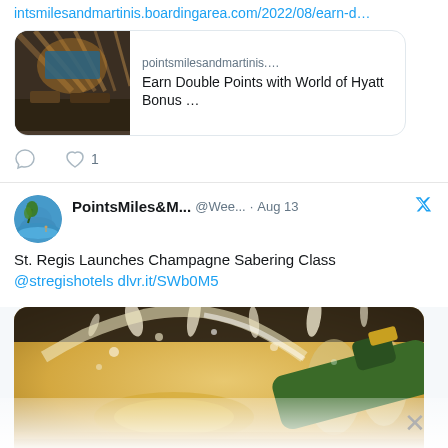intsmilesandmartinis.boardingarea.com/2022/08/earn-d…
[Figure (screenshot): Link preview card showing a hotel lobby interior with text 'pointsmilesandmartinis.… Earn Double Points with World of Hyatt Bonus …']
[Figure (infographic): Tweet action icons: comment bubble and heart with count 1]
[Figure (screenshot): Tweet by PointsMiles&M... @Wee... · Aug 13 with Twitter bird icon. Tweet text: St. Regis Launches Champagne Sabering Class @stregishotels dlvr.it/SWb0M5]
[Figure (photo): Photo of champagne bottle being sabered with champagne spraying and glasses in background]